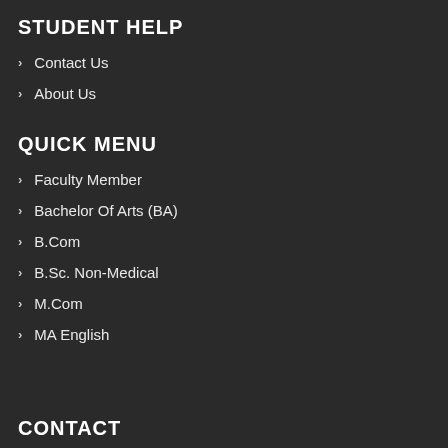STUDENT HELP
Contact Us
About Us
QUICK MENU
Faculty Member
Bachelor Of Arts (BA)
B.Com
B.Sc. Non-Medical
M.Com
MA English
CONTACT